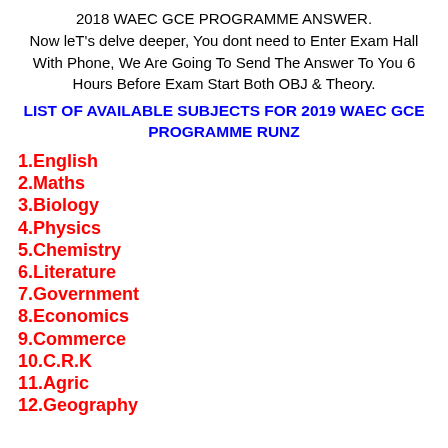2018 WAEC GCE PROGRAMME ANSWER.
Now leT's delve deeper, You dont need to Enter Exam Hall With Phone, We Are Going To Send The Answer To You 6 Hours Before Exam Start Both OBJ & Theory.
LIST OF AVAILABLE SUBJECTS FOR 2019 WAEC GCE PROGRAMME RUNZ
1.English
2.Maths
3.Biology
4.Physics
5.Chemistry
6.Literature
7.Government
8.Economics
9.Commerce
10.C.R.K
11.Agric
12.Geography